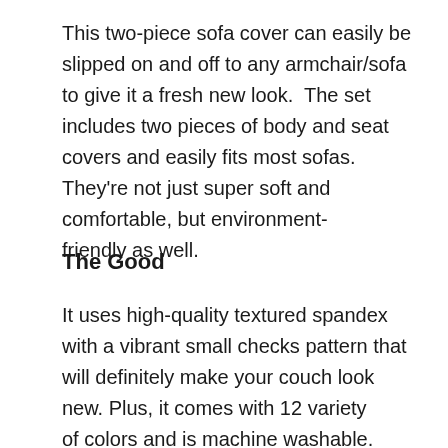This two-piece sofa cover can easily be slipped on and off to any armchair/sofa to give it a fresh new look. The set includes two pieces of body and seat covers and easily fits most sofas. They're not just super soft and comfortable, but environment-friendly as well.
The Good
It uses high-quality textured spandex with a vibrant small checks pattern that will definitely make your couch look new. Plus, it comes with 12 variety of colors and is machine washable.